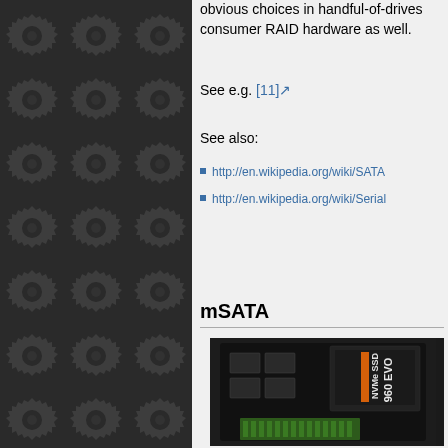[Figure (illustration): Dark gray background with repeating gear/cog pattern, left panel of page]
obvious choices in handful-of-drives consumer RAID hardware as well.
See e.g. [11]
See also:
http://en.wikipedia.org/wiki/SATA
http://en.wikipedia.org/wiki/Serial
mSATA
[Figure (photo): Photo of mSATA SSD card, Samsung 960 EVO visible on label, small form factor drive with green PCB connector at bottom]